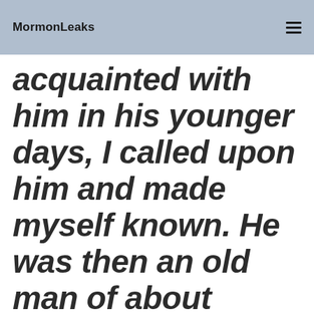MormonLeaks
acquainted with him in his younger days, I called upon him and made myself known. He was then an old man of about eighty years. During our conversation, I inquired of him why it was that his people crossed what was